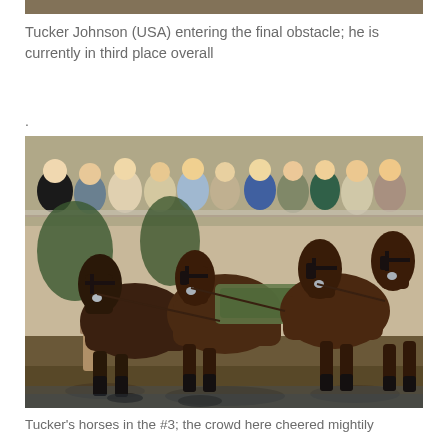[Figure (photo): Partial top of a horse carriage driving competition photo, showing the top edge of a scene with spectators and trees in the background.]
Tucker Johnson (USA) entering the final obstacle; he is currently in third place overall
.
[Figure (photo): Four dark bay horses in full harness driving gear racing through a muddy water obstacle at a carriage driving competition. Spectators line the fence in the background. The horses are straining forward with mud splashing around their hooves.]
Tucker's horses in the #3; the crowd here cheered mightily